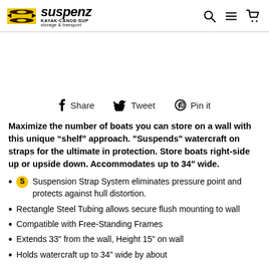Suspenz KAYAK-CANOE-SUP storage & transport
Share  Tweet  Pin it
Maximize the number of boats you can store on a wall with this unique “shelf” approach. "Suspends" watercraft on straps for the ultimate in protection. Store boats right-side up or upside down. Accommodates up to 34" wide.
Suspension Strap System eliminates pressure point and protects against hull distortion.
Rectangle Steel Tubing allows secure flush mounting to wall
Compatible with Free-Standing Frames
Extends 33" from the wall, Height 15" on wall
Holds watercraft up to 34" wide by about...